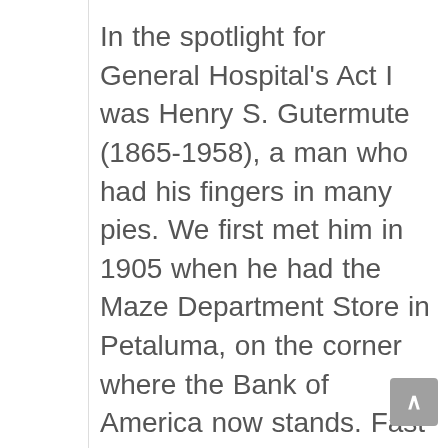In the spotlight for General Hospital's Act I was Henry S. Gutermute (1865-1958), a man who had his fingers in many pies. We first met him in 1905 when he had the Maze Department Store in Petaluma, on the corner where the Bank of America now stands. Fast forward to 1915 and he's now president of the Burke Corporation, the new owner of the Burke Sanitarium, which five years earlier had been the scene of Sonoma County's crime of the century. To scrape away the scandal and relaunch the sanitarium they threw a luxe dinner and dance for 400 movers and shakers. What they announced the...